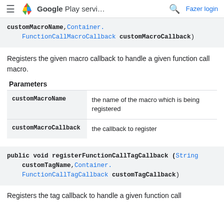Google Play servi...
customMacroName, Container.FunctionCallMacroCallback customMacroCallback)
Registers the given macro callback to handle a given function call macro.
Parameters
| Parameter | Description |
| --- | --- |
| customMacroName | the name of the macro which is being registered |
| customMacroCallback | the callback to register |
public void registerFunctionCallTagCallback (String customTagName, Container.FunctionCallTagCallback customTagCallback)
Registers the tag callback to handle a given function call